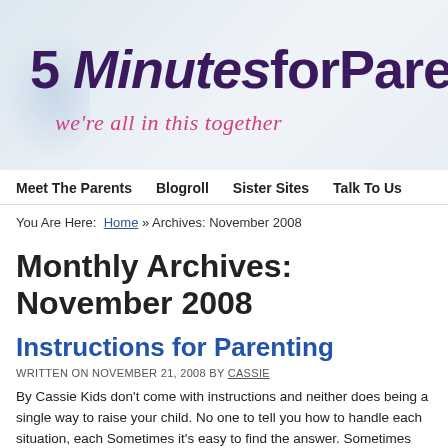[Figure (logo): 5MinutesforParenting blog logo with tagline 'we're all in this together' on a light blue/grey gradient background]
Meet The Parents | Blogroll | Sister Sites | Talk To Us
You Are Here: Home » Archives: November 2008
Monthly Archives: November 2008
Instructions for Parenting
Written on November 21, 2008 by Cassie
By Cassie Kids don't come with instructions and neither does being a single way to raise your child. No one to tell you how to handle each situation, each Sometimes it's easy to find the answer. Sometimes that motherly instinct co day....